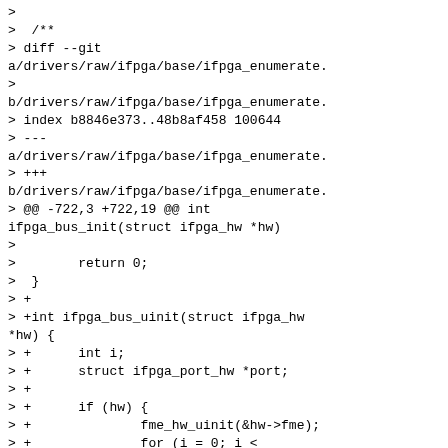>
>  /**
> diff --git
a/drivers/raw/ifpga/base/ifpga_enumerate.
>
b/drivers/raw/ifpga/base/ifpga_enumerate.
> index b8846e373..48b8af458 100644
> ---
a/drivers/raw/ifpga/base/ifpga_enumerate.
> +++
b/drivers/raw/ifpga/base/ifpga_enumerate.
> @@ -722,3 +722,19 @@ int
ifpga_bus_init(struct ifpga_hw *hw)
>
>        return 0;
>  }
> +
> +int ifpga_bus_uinit(struct ifpga_hw
*hw) {
> +      int i;
> +      struct ifpga_port_hw *port;
> +
> +      if (hw) {
> +              fme_hw_uinit(&hw->fme);
> +              for (i = 0; i <
MAX_FPGA_PORT_NUM; i++) {
> +                  port = &hw-
>port[i];
> +
port_hw_uinit(port);
> +              }